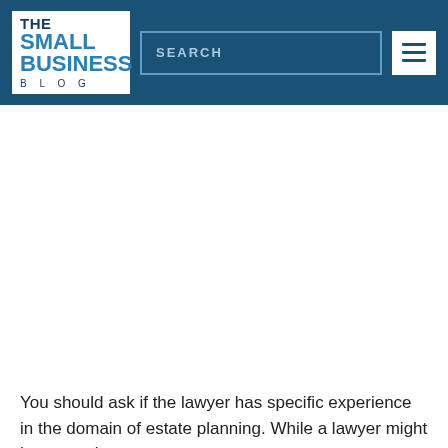THE SMALL BUSINESS BLOG
You should ask if the lawyer has specific experience in the domain of estate planning. While a lawyer might have ample